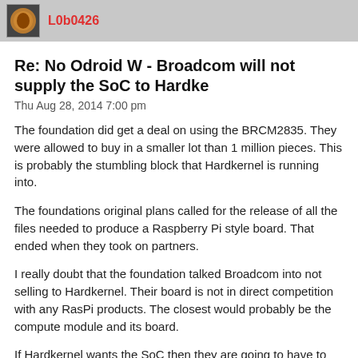L0b0426
Re: No Odroid W - Broadcom will not supply the SoC to Hardke
Thu Aug 28, 2014 7:00 pm
The foundation did get a deal on using the BRCM2835. They were allowed to buy in a smaller lot than 1 million pieces. This is probably the stumbling block that Hardkernel is running into.
The foundations original plans called for the release of all the files needed to produce a Raspberry Pi style board. That ended when they took on partners.
I really doubt that the foundation talked Broadcom into not selling to Hardkernel. Their board is not in direct competition with any RasPi products. The closest would probably be the compute module and its board.
If Hardkernel wants the SoC then they are going to have to